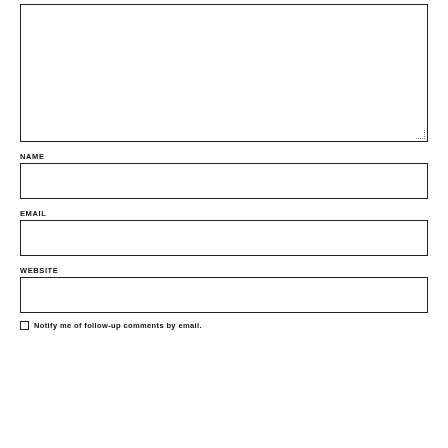[Figure (other): Large empty textarea input box with resize indicator at bottom-right corner]
NAME
[Figure (other): Name input field box]
EMAIL
[Figure (other): Email input field box]
WEBSITE
[Figure (other): Website input field box]
Notify me of follow-up comments by email.